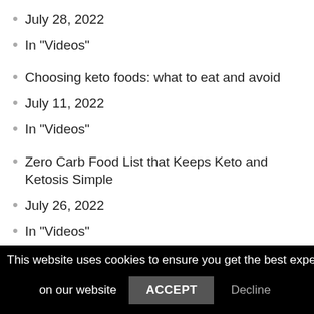July 28, 2022
In "Videos"
Choosing keto foods: what to eat and avoid
July 11, 2022
In "Videos"
Zero Carb Food List that Keeps Keto and Ketosis Simple
July 26, 2022
In "Videos"
[Figure (infographic): Social share buttons: Twitter (blue), Facebook (dark blue), Pinterest (red)]
This website uses cookies to ensure you get the best experience on our website
ACCEPT | Decline